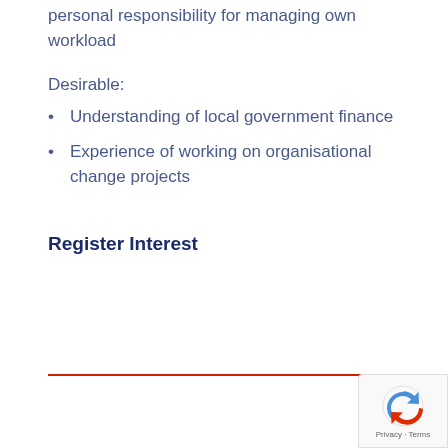personal responsibility for managing own workload
Desirable:
Understanding of local government finance
Experience of working on organisational change projects
Register Interest